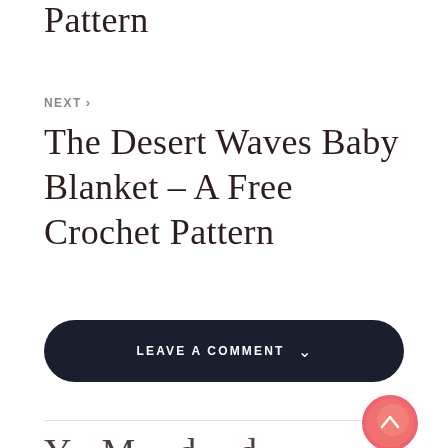Pattern
NEXT >
The Desert Waves Baby Blanket – A Free Crochet Pattern
LEAVE A COMMENT
[Figure (other): Scroll-to-top circular button with upward chevron, pink/coral color]